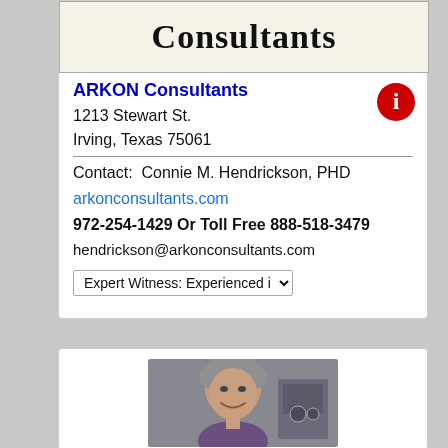[Figure (logo): ARKON Consultants logo showing text 'Consultants' in bold serif font on cream background]
[Figure (infographic): Red circular information icon with white 'i']
ARKON Consultants
1213 Stewart St.
Irving, Texas 75061
Contact:  Connie M. Hendrickson, PHD
arkonconsultants.com
972-254-1429 Or Toll Free 888-518-3479
hendrickson@arkonconsultants.com
Expert Witness: Experienced in dep
[Figure (photo): Headshot photo of a middle-aged man with grey hair smiling, in a laboratory or office setting with equipment visible in background]